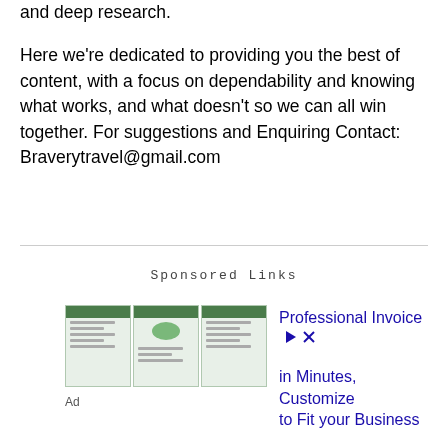and deep research.

Here we're dedicated to providing you the best of content, with a focus on dependability and knowing what works, and what doesn't so we can all win together. For suggestions and Enquiring Contact: Braverytravel@gmail.com
Sponsored Links
[Figure (other): Advertisement banner showing invoice document thumbnails with text 'Professional Invoice in Minutes, Customize to Fit your Business' and an Ad label below]